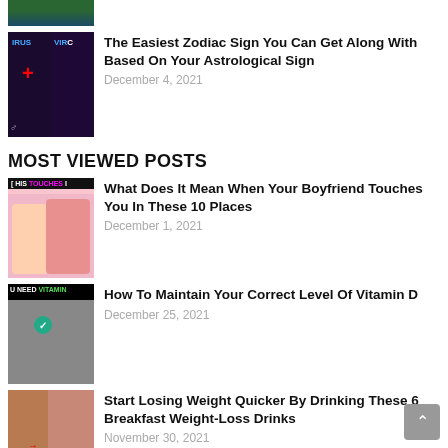[Figure (photo): Partial thumbnail image of a vitamin-related article, cropped at top]
[Figure (photo): Thumbnail showing zodiac signs with red plus symbol, labeled IRUS and VIRC]
The Easiest Zodiac Sign You Can Get Along With Based On Your Astrological Sign
December 4, 2021
MOST VIEWED POSTS
[Figure (photo): Thumbnail showing HIS TOUCHES with manga art of couple]
What Does It Mean When Your Boyfriend Touches You In These 10 Places
December 1, 2021
[Figure (photo): Thumbnail showing YOU NEED VITAMIN D with a person image and green check]
How To Maintain Your Correct Level Of Vitamin D
December 25, 2021
[Figure (photo): Thumbnail showing weight loss article with woman's midsection and arrow]
Start Losing Weight Quicker By Drinking These 6 Breakfast Weight-Loss Drinks
November 30, 2021